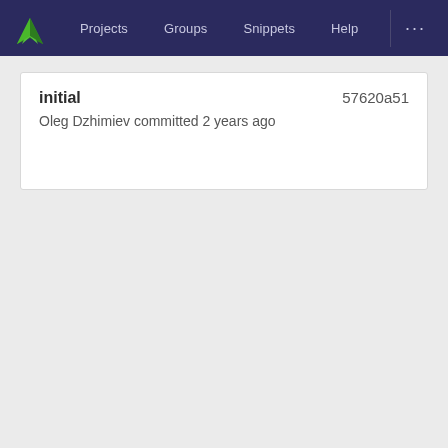Projects  Groups  Snippets  Help  ...
initial  57620a51
Oleg Dzhimiev committed 2 years ago